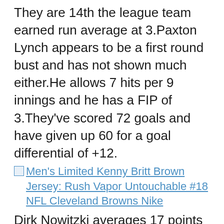They are 14th the league team earned run average at 3.Paxton Lynch appears to be a first round bust and has not shown much either.He allows 7 hits per 9 innings and he has a FIP of 3.They've scored 72 goals and have given up 60 for a goal differential of +12.
Men's Limited Kenny Britt Brown Jersey: Rush Vapor Untouchable #18 NFL Cleveland Browns Nike
Dirk Nowitzki averages 17 points per game while playing 30 minutes per contest this year for the Mavericks.They have had 421 men left on base and have OPS of .729.Kawann Short, DT, Purdue: Scouts have been raving about Short's potential as a three-technique a one-gap scheme after watching him terrorize